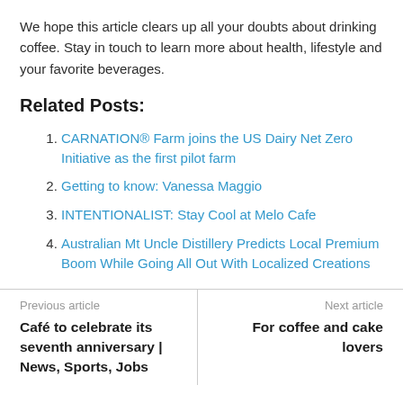We hope this article clears up all your doubts about drinking coffee. Stay in touch to learn more about health, lifestyle and your favorite beverages.
Related Posts:
CARNATION® Farm joins the US Dairy Net Zero Initiative as the first pilot farm
Getting to know: Vanessa Maggio
INTENTIONALIST: Stay Cool at Melo Cafe
Australian Mt Uncle Distillery Predicts Local Premium Boom While Going All Out With Localized Creations
Previous article
Café to celebrate its seventh anniversary | News, Sports, Jobs
Next article
For coffee and cake lovers